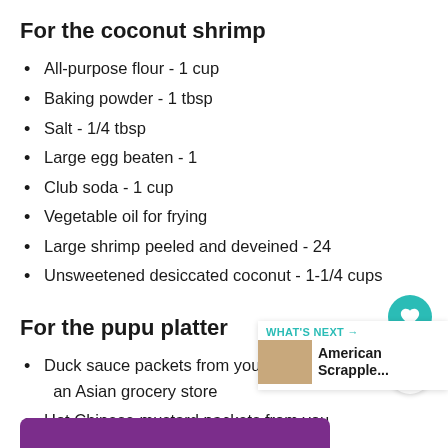For the coconut shrimp
All-purpose flour - 1 cup
Baking powder - 1 tbsp
Salt - 1/4 tbsp
Large egg beaten - 1
Club soda - 1 cup
Vegetable oil for frying
Large shrimp peeled and deveined - 24
Unsweetened desiccated coconut - 1-1/4 cups
For the pupu platter
Duck sauce packets from your local Chinese joint or an Asian grocery store
Hot Chinese mustard packets from your local Chinese joint